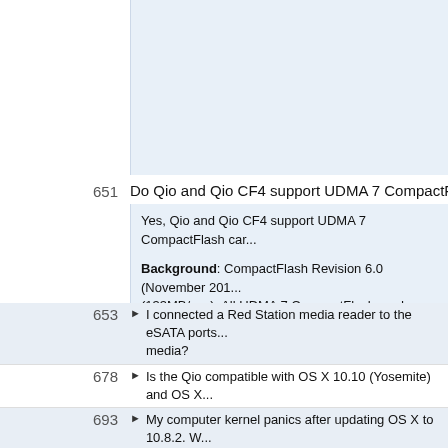(continuation of answer box from previous page - blue background area)
651 Do Qio and Qio CF4 support UDMA 7 CompactFlash cards?
Yes, Qio and Qio CF4 support UDMA 7 CompactFlash cards.

Background: CompactFlash Revision 6.0 (November 201... (133MB/sec). All UDMA 7 CompactFlash cards are compa...

The Qio's CompactFlash slots can be read concurrently. T... 200MB/s (two cards).

The Qio CF4 can read all four CompactFlash slots concurr... 133MB/sec (one card), 266MB/sec (two cards), 400MB/se...
653 I connected a Red Station media reader to the eSATA ports... media?
678 Is the Qio compatible with OS X 10.10 (Yosemite) and OS X...
693 My computer kernel panics after updating OS X to 10.8.2. W...
713 My Qio Does Not Recognize My SD-to-SxS Adapter
730 I have a Retina MacBook Pro (or other Mac introduced in 2...